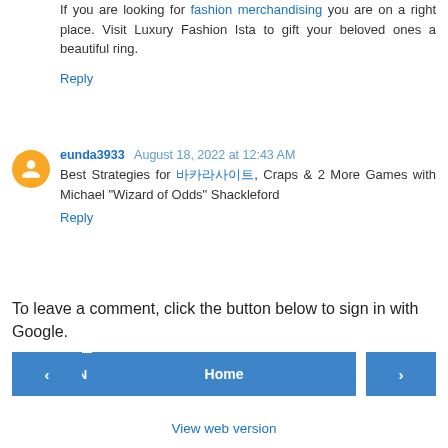If you are looking for fashion merchandising you are on a right place. Visit Luxury Fashion Ista to gift your beloved ones a beautiful ring.
Reply
eunda3933  August 18, 2022 at 12:43 AM
Best Strategies for 바카라사이트, Craps & 2 More Games with Michael "Wizard of Odds" Shackleford
Reply
To leave a comment, click the button below to sign in with Google.
SIGN IN WITH GOOGLE
Home
View web version